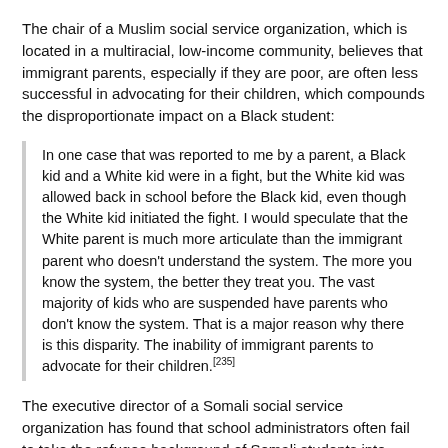The chair of a Muslim social service organization, which is located in a multiracial, low-income community, believes that immigrant parents, especially if they are poor, are often less successful in advocating for their children, which compounds the disproportionate impact on a Black student:
In one case that was reported to me by a parent, a Black kid and a White kid were in a fight, but the White kid was allowed back in school before the Black kid, even though the White kid initiated the fight. I would speculate that the White parent is much more articulate than the immigrant parent who doesn't understand the system. The more you know the system, the better they treat you. The vast majority of kids who are suspended have parents who don't know the system. That is a major reason why there is this disparity. The inability of immigrant parents to advocate for their children.[235]
The executive director of a Somali social service organization has found that school administrators often fail to take the refugee background of Somali students into account when applying discipline for misbehaviour: